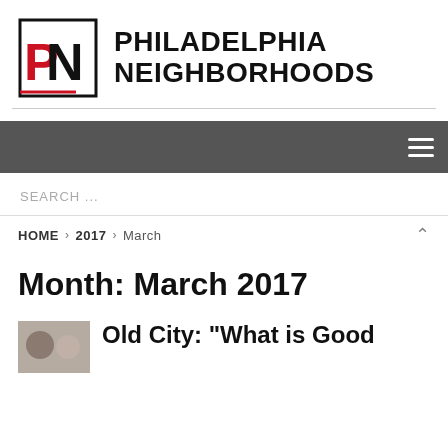[Figure (logo): Philadelphia Neighborhoods logo with PN icon in red and black square border, next to bold text PHILADELPHIA NEIGHBORHOODS]
[Figure (other): Dark gray navigation bar with hamburger menu icon (three horizontal lines) on the right]
SEARCH ...
HOME > 2017 > March
Month: March 2017
Old City: "What is Good ..."